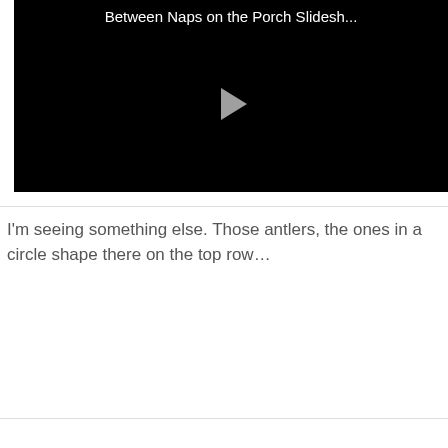[Figure (screenshot): Video player with black background showing title 'Between Naps on the Porch Slidesh...' in white text at top, and a gray play button triangle in the center.]
I'm seeing something else. Those antlers, the ones in a circle shape there on the top row…